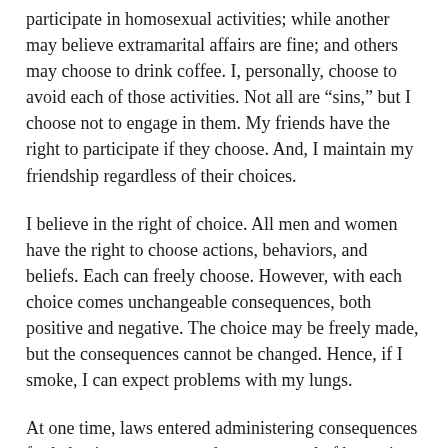participate in homosexual activities; while another may believe extramarital affairs are fine; and others may choose to drink coffee. I, personally, choose to avoid each of those activities. Not all are “sins,” but I choose not to engage in them. My friends have the right to participate if they choose. And, I maintain my friendship regardless of their choices.
I believe in the right of choice. All men and women have the right to choose actions, behaviors, and beliefs. Each can freely choose. However, with each choice comes unchangeable consequences, both positive and negative. The choice may be freely made, but the consequences cannot be changed. Hence, if I smoke, I can expect problems with my lungs.
At one time, laws entered administering consequences for behaviors contrary to those approved of by society. No longer. Standards have been lowered, behaviors once shunned are accepted.